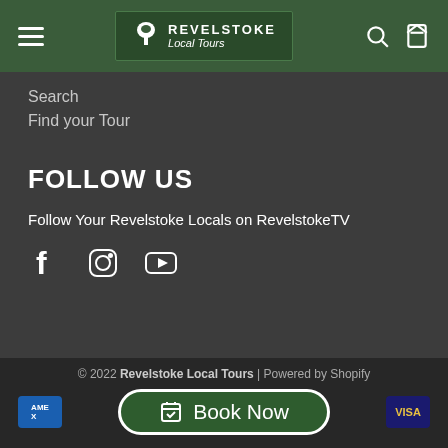Revelstoke Local Tours
Search
Find your Tour
FOLLOW US
Follow Your Revelstoke Locals on RevelstokeTV
[Figure (other): Social media icons: Facebook, Instagram, YouTube]
© 2022 Revelstoke Local Tours | Powered by Shopify
Book Now